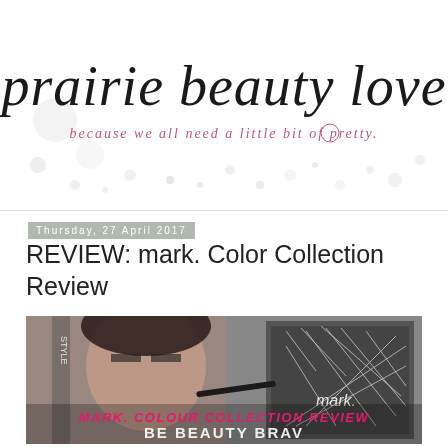[Figure (logo): Prairie Beauty Love blog header logo with cursive text 'prairie beauty love' and tagline 'because we all need a little bit of pretty.' with decorative dot pattern background]
Thursday, 27 April 2017
REVIEW: mark. Color Collection Review
[Figure (photo): Blog post header image showing a woman's face and a dark grey makeup palette box with white geometric pattern. Text overlay reads 'MARK. COLOUR COLLECTION REVIEW' in pink and 'BE BEAUTY BRAVE' partially visible at bottom]